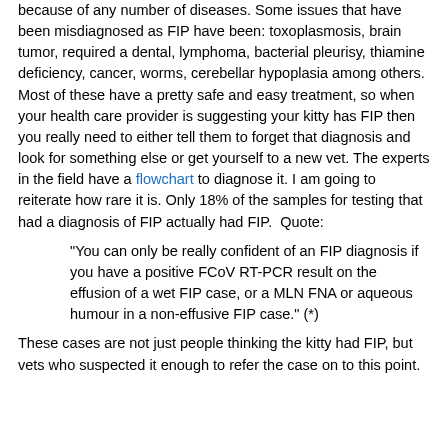because of any number of diseases. Some issues that have been misdiagnosed as FIP have been: toxoplasmosis, brain tumor, required a dental, lymphoma, bacterial pleurisy, thiamine deficiency, cancer, worms, cerebellar hypoplasia among others. Most of these have a pretty safe and easy treatment, so when your health care provider is suggesting your kitty has FIP then you really need to either tell them to forget that diagnosis and look for something else or get yourself to a new vet. The experts in the field have a flowchart to diagnose it. I am going to reiterate how rare it is. Only 18% of the samples for testing that had a diagnosis of FIP actually had FIP. Quote:
"You can only be really confident of an FIP diagnosis if you have a positive FCoV RT-PCR result on the effusion of a wet FIP case, or a MLN FNA or aqueous humour in a non-effusive FIP case." (*)
These cases are not just people thinking the kitty had FIP, but vets who suspected it enough to refer the case on to this point.